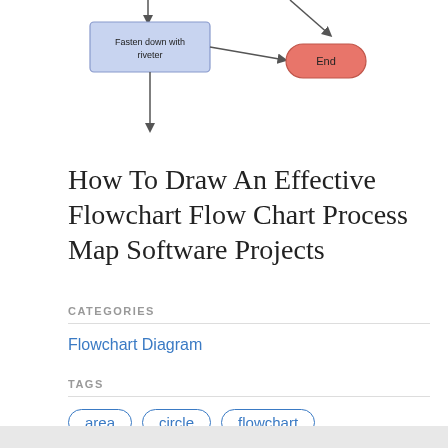[Figure (flowchart): Partial flowchart showing a blue rectangle labeled 'Fasten down with riveter' connected by arrows, and a salmon/red rounded rectangle labeled 'End'. Arrows point downward from top and to the right toward End.]
How To Draw An Effective Flowchart Flow Chart Process Map Software Projects
CATEGORIES
Flowchart Diagram
TAGS
area   circle   flowchart